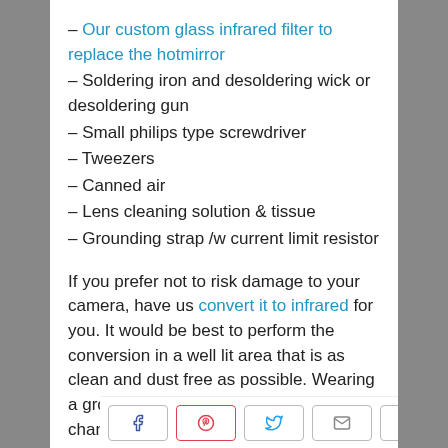– Our custom glass infrared filter to replace the hotmirror
– Soldering iron and desoldering wick or desoldering gun
– Small philips type screwdriver
– Tweezers
– Canned air
– Lens cleaning solution & tissue
– Grounding strap /w current limit resistor
If you prefer not to risk damage to your camera, have us convert it to infrared for you. It would be best to perform the conversion in a well lit area that is as clean and dust free as possible. Wearing a grounding strap will minimize the chance of zapping
Share buttons: Facebook, Pinterest, Twitter, Email, LinkedIn